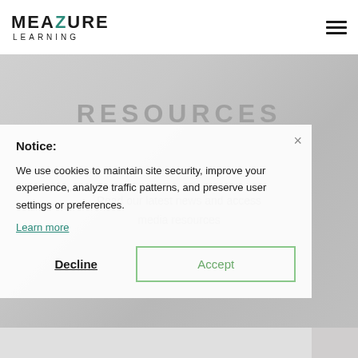MEAZURE LEARNING
RESOURCES
Read our latest news and access media resources
Notice:
We use cookies to maintain site security, improve your experience, analyze traffic patterns, and preserve user settings or preferences.
Learn more
Decline
Accept